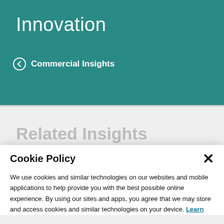Innovation
Commercial Insights
Related Insights
Cookie Policy
We use cookies and similar technologies on our websites and mobile applications to help provide you with the best possible online experience. By using our sites and apps, you agree that we may store and access cookies and similar technologies on your device. Learn more about how Regions uses cookies.
I Understand